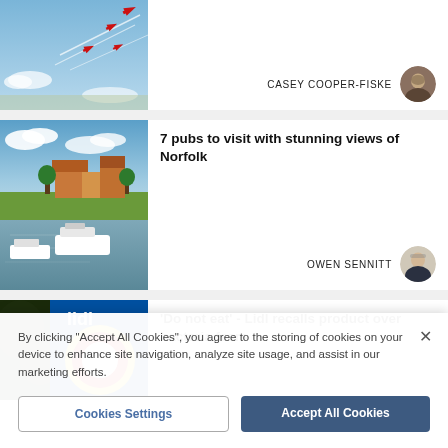[Figure (photo): Red Arrows aerobatic planes flying in formation leaving red smoke trails against a blue sky — partially visible at top of page]
CASEY COOPER-FISKE
[Figure (photo): Boats moored on a calm river with Norfolk Broads landscape, cottages and blue sky in background]
7 pubs to visit with stunning views of Norfolk
OWEN SENNITT
[Figure (photo): Lidl store signage showing the yellow circle logo on blue background — partially visible at bottom]
'Do not eat' - Lidl recalls product over bacteria fears
By clicking "Accept All Cookies", you agree to the storing of cookies on your device to enhance site navigation, analyze site usage, and assist in our marketing efforts.
Cookies Settings
Accept All Cookies